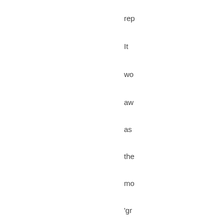rep
It
wo
aw
as
the
mo
'gr
co
of
the
ha
ma
an
ev
as
it